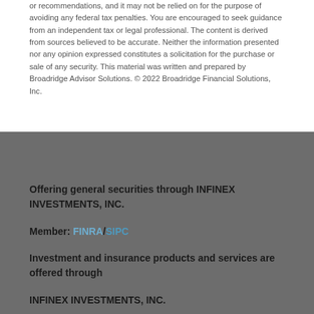or recommendations, and it may not be relied on for the purpose of avoiding any federal tax penalties. You are encouraged to seek guidance from an independent tax or legal professional. The content is derived from sources believed to be accurate. Neither the information presented nor any opinion expressed constitutes a solicitation for the purchase or sale of any security. This material was written and prepared by Broadridge Advisor Solutions. © 2022 Broadridge Financial Solutions, Inc.
Offering general securities through INFINEX INVESTMENTS, INC.
Member: FINRA/SIPC
Investment and insurance products and services are offered through
INFINEX INVESTMENTS, INC.